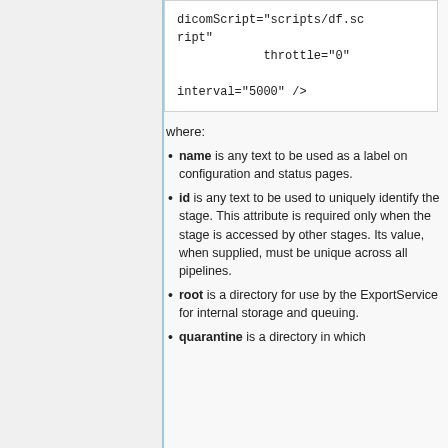dicomScript="scripts/df.script"
            throttle="0"

interval="5000" />
where:
name is any text to be used as a label on configuration and status pages.
id is any text to be used to uniquely identify the stage. This attribute is required only when the stage is accessed by other stages. Its value, when supplied, must be unique across all pipelines.
root is a directory for use by the ExportService for internal storage and queuing.
quarantine is a directory in which